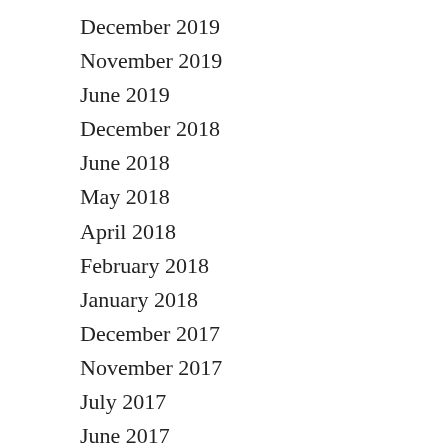December 2019
November 2019
June 2019
December 2018
June 2018
May 2018
April 2018
February 2018
January 2018
December 2017
November 2017
July 2017
June 2017
May 2017
April 2017
March 2017
January 2017
December 2016